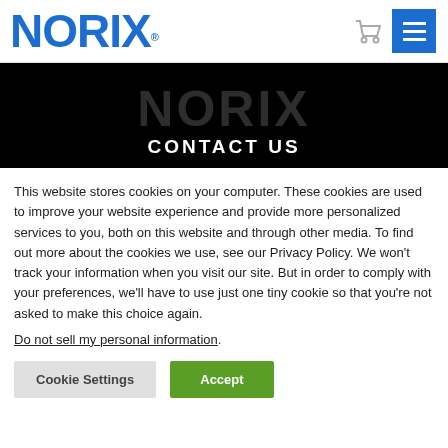[Figure (logo): NORIX logo in bold blue text with registered trademark symbol]
[Figure (screenshot): Navigation icons: shopping cart and blue hamburger menu button]
[Figure (photo): Dark hero banner with faint NORIX watermark and CONTACT US heading]
CONTACT US
This website stores cookies on your computer. These cookies are used to improve your website experience and provide more personalized services to you, both on this website and through other media. To find out more about the cookies we use, see our Privacy Policy. We won't track your information when you visit our site. But in order to comply with your preferences, we'll have to use just one tiny cookie so that you're not asked to make this choice again.
Do not sell my personal information.
Cookie Settings | Accept